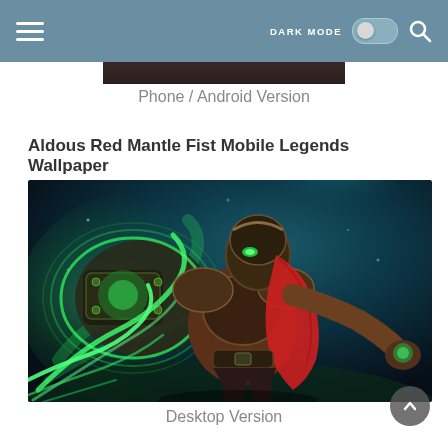DARK MODE [toggle] [search]
[Figure (screenshot): Partial bottom of a phone/Android version wallpaper image showing dark background]
Phone / Android Version
Aldous Red Mantle Fist Mobile Legends Wallpaper
[Figure (illustration): Aldous Red Mantle Fist character from Mobile Legends - armored warrior with glowing green mechanical fist and red cape against a teal/dark mystical background]
Desktop Version